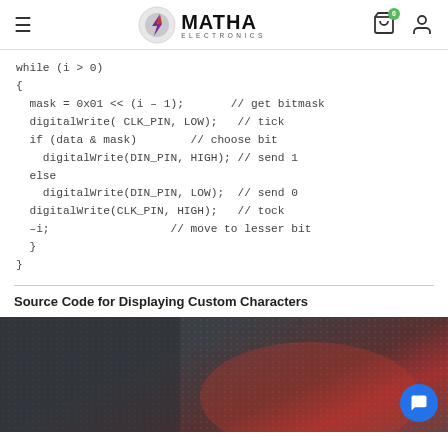MATHA ELECTRONICS
while (i > 0)
{
  mask = 0x01 << (i - 1);       // get bitmask
  digitalWrite( CLK_PIN, LOW);   // tick
  if (data & mask)        // choose bit
    digitalWrite(DIN_PIN, HIGH); // send 1
  else
    digitalWrite(DIN_PIN, LOW);  // send 0
  digitalWrite(CLK_PIN, HIGH);   // tock
  -i;                  // move to lesser bit
}
}
Source Code for Displaying Custom Characters
[Figure (photo): Dark LED display screen with reddish glow, with a blue circular chat/message bubble icon in the bottom-right corner]